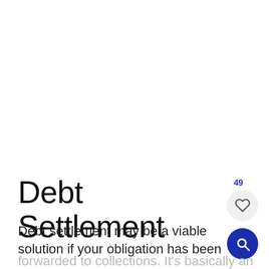Debt Settlement
Debt settlement may be a viable solution if your obligation has been forwarded to collections. It's basically an agreement wherein the lender